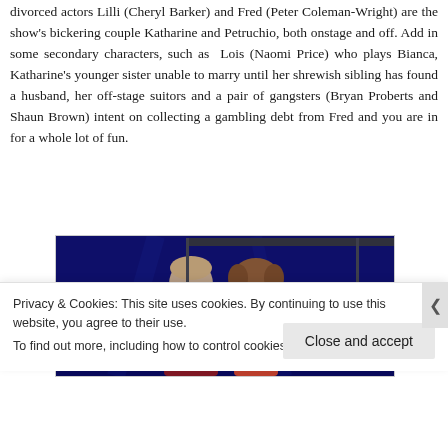divorced actors Lilli (Cheryl Barker) and Fred (Peter Coleman-Wright) are the show's bickering couple Katharine and Petruchio, both onstage and off. Add in some secondary characters, such as Lois (Naomi Price) who plays Bianca, Katharine's younger sister unable to marry until her shrewish sibling has found a husband, her off-stage suitors and a pair of gangsters (Bryan Proberts and Shaun Brown) intent on collecting a gambling debt from Fred and you are in for a whole lot of fun.
[Figure (photo): A dark blue-lit theatre scene showing two actors, a man and a woman, in what appears to be a production still from the show.]
Privacy & Cookies: This site uses cookies. By continuing to use this website, you agree to their use. To find out more, including how to control cookies, see here: Cookie Policy